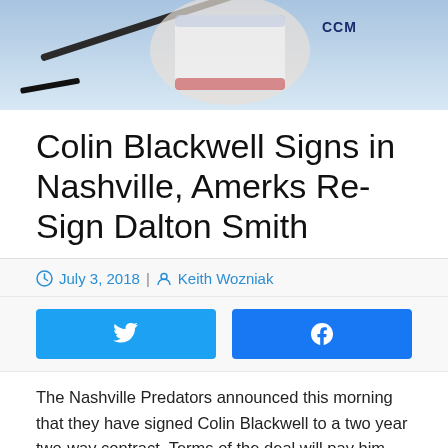[Figure (photo): Hockey player in white/blue/red uniform with CCM equipment, holding a stick]
Colin Blackwell Signs in Nashville, Amerks Re-Sign Dalton Smith
July 3, 2018 | Keith Wozniak
[Figure (infographic): Twitter share button and Facebook share button side by side]
The Nashville Predators announced this morning that they have signed Colin Blackwell to a two year two-way contract. Terms of the deal will pay him $100k a season in the AHL and $650k the first year in the NHL, $700k the second. Scott Nichol is the GM for theÀ Milwaukee Admirals and Director of Player Development for the